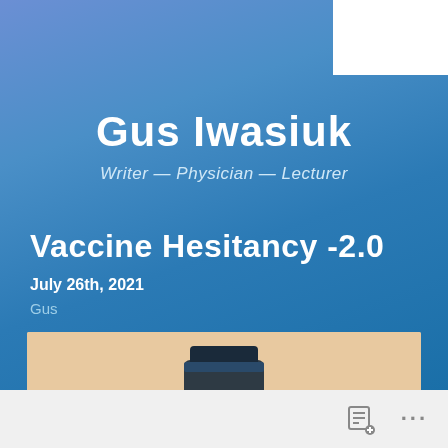Gus Iwasiuk
Writer — Physician — Lecturer
Vaccine Hesitancy -2.0
July 26th, 2021
Gus
[Figure (photo): A medical vaccine vial with a question mark on its label, surrounded by small silhouettes of people, on a peach/beige background.]